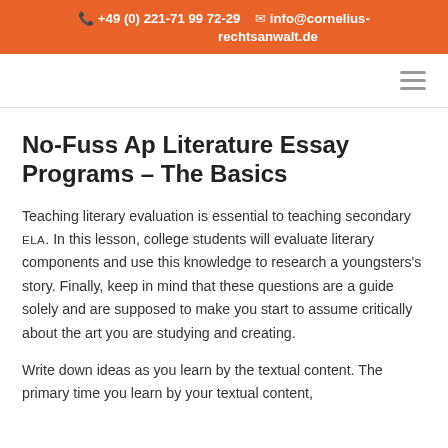+49 (0) 221-71 99 72-29  info@cornelius-rechtsanwalt.de
No-Fuss Ap Literature Essay Programs – The Basics
Teaching literary evaluation is essential to teaching secondary ELA. In this lesson, college students will evaluate literary components and use this knowledge to research a youngsters's story. Finally, keep in mind that these questions are a guide solely and are supposed to make you start to assume critically about the art you are studying and creating.
Write down ideas as you learn by the textual content. The primary time you learn by your textual content,